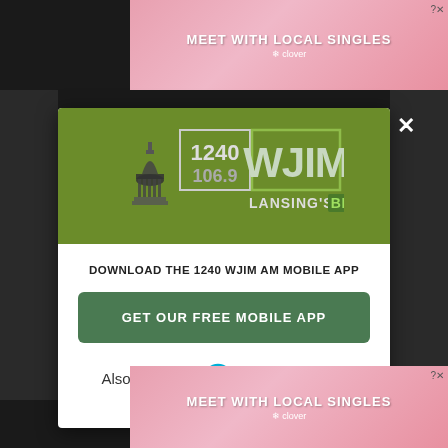[Figure (screenshot): Top advertisement banner for 'Meet With Local Singles' by Clover dating app, pink gradient background with close button]
[Figure (logo): WJIM 1240 / 106.9 AM radio station logo on olive green background. Shows capitol building icon, frequencies 1240 and 106.9, WJIM text, and tagline LANSING'S BIG TALKER]
DOWNLOAD THE 1240 WJIM AM MOBILE APP
GET OUR FREE MOBILE APP
Also listen on:  amazon alexa
[Figure (screenshot): Bottom advertisement banner for 'Meet With Local Singles' by Clover dating app, pink gradient background with close button]